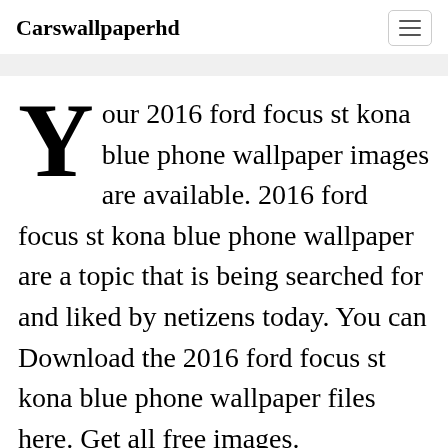Carswallpaperhd
Your 2016 ford focus st kona blue phone wallpaper images are available. 2016 ford focus st kona blue phone wallpaper are a topic that is being searched for and liked by netizens today. You can Download the 2016 ford focus st kona blue phone wallpaper files here. Get all free images.